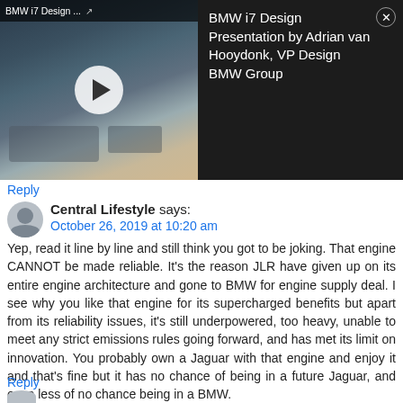[Figure (screenshot): BMW i7 Design Presentation video thumbnail with dark car interior on left and title text on dark background on right]
Reply
Central Lifestyle says:
October 26, 2019 at 10:20 am
Yep, read it line by line and still think you got to be joking. That engine CANNOT be made reliable. It's the reason JLR have given up on its entire engine architecture and gone to BMW for engine supply deal. I see why you like that engine for its supercharged benefits but apart from its reliability issues, it's still underpowered, too heavy, unable to meet any strict emissions rules going forward, and has met its limit on innovation. You probably own a Jaguar with that engine and enjoy it and that's fine but it has no chance of being in a future Jaguar, and even less of no chance being in a BMW.
Reply